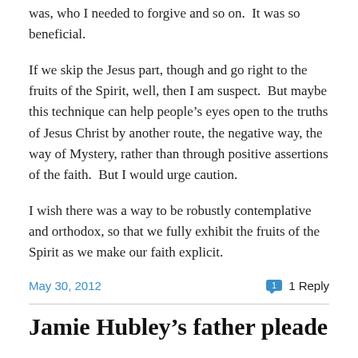was, who I needed to forgive and so on.  It was so beneficial.
If we skip the Jesus part, though and go right to the fruits of the Spirit, well, then I am suspect.  But maybe this technique can help people's eyes open to the truths of Jesus Christ by another route, the negative way, the way of Mystery, rather than through positive assertions of the faith.  But I would urge caution.
I wish there was a way to be robustly contemplative and orthodox, so that we fully exhibit the fruits of the Spirit as we make our faith explicit.
May 30, 2012   1 Reply
Jamie Hubley's father pleade